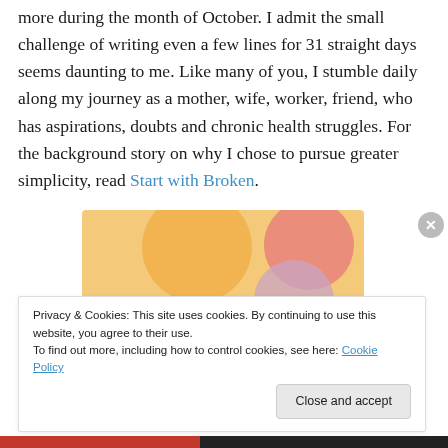more during the month of October.  I admit the small challenge of writing even a few lines for 31 straight days seems daunting to me.  Like many of you, I stumble daily along my journey as a mother, wife, worker, friend, who has aspirations, doubts and chronic health struggles.  For the background story on why I chose to pursue greater simplicity, read Start with Broken.
[Figure (illustration): Advertisement banner with colorful blob shapes (orange, pink, lavender) on a warm yellow background, with bold text reading 'WordPress in the back.']
Privacy & Cookies: This site uses cookies. By continuing to use this website, you agree to their use.
To find out more, including how to control cookies, see here: Cookie Policy